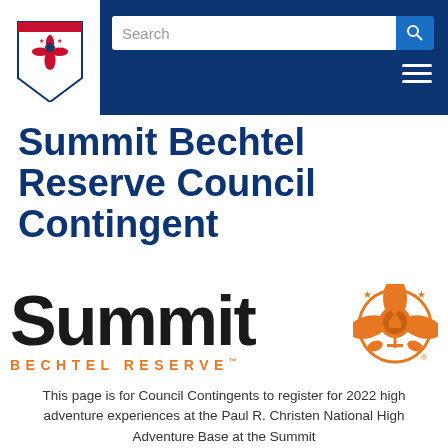[Figure (logo): BSA Boy Scouts of America fleur-de-lis logo in red, white and blue on white background in header]
[Figure (screenshot): Search bar with blue search button in dark blue navigation header]
Summit Bechtel Reserve Council Contingent
[Figure (logo): Summit Bechtel Reserve logo: large black 'Summit' text with orange fleur-de-lis BSA emblem and orange 'BECHTEL RESERVE' text below]
This page is for Council Contingents to register for 2022 high adventure experiences at the Paul R. Christen National High Adventure Base at the Summit